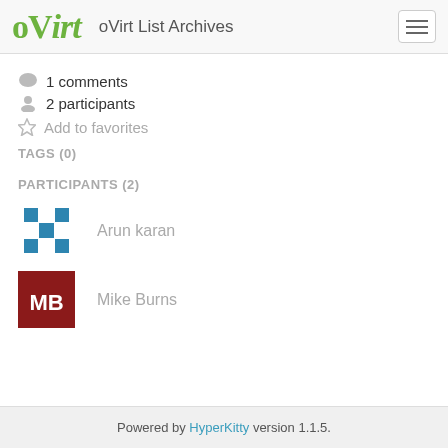oVirt List Archives
1 comments
2 participants
Add to favorites
TAGS (0)
PARTICIPANTS (2)
Arun karan
Mike Burns
Powered by HyperKitty version 1.1.5.